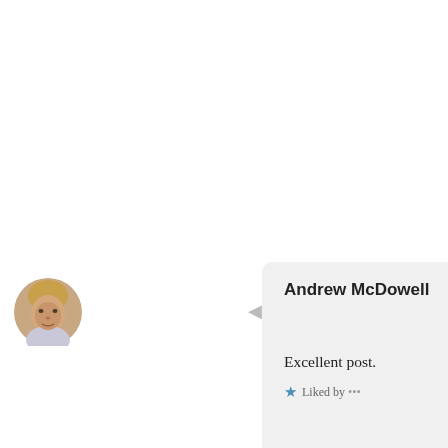openings are always great in immersing the reader in a living, breathing world.
Liked by 1 person
APRIL 10, 2019 AT 12:22 PM
REPLY
[Figure (photo): Circular avatar photo of Andrew McDowell, a young man with short blond hair]
Andrew McDowell
Excellent post.